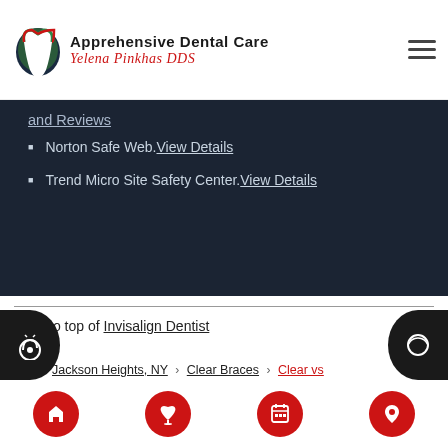[Figure (logo): Apprehensive Dental Care - Yelena Pinkhas DDS logo with tooth icon]
and Reviews (link)
Norton Safe Web. View Details
Trend Micro Site Safety Center. View Details
Back to top of Invisalign Dentist
Jackson Heights, NY > Clear Braces > Clear vs Traditional Braces